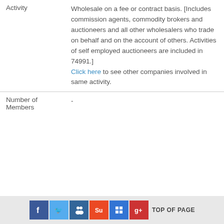| Field | Value |
| --- | --- |
| Activity | Wholesale on a fee or contract basis. [Includes commission agents, commodity brokers and auctioneers and all other wholesalers who trade on behalf and on the account of others. Activities of self employed auctioneers are included in 74991.] Click here to see other companies involved in same activity. |
| Number of Members | - |
Social share icons: Facebook, Twitter, MySpace, StumbleUpon, Delicious, Google+. TOP OF PAGE